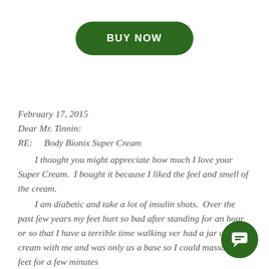[Figure (other): Green rounded rectangle button with white bold text reading 'BUY NOW']
February 17, 2015
Dear Mr. Tinnin:
RE:     Body Bionix Super Cream
    I thought you might appreciate how much I love your Super Cream.  I bought it because I liked the feel and smell of the cream.
    I am diabetic and take a lot of insulin shots.  Over the past few years my feet hurt so bad after standing for an hour or so that I have a terrible time walking very I had a jar of your cream with me and was only us a base so I could massage my feet for a few minutes a…